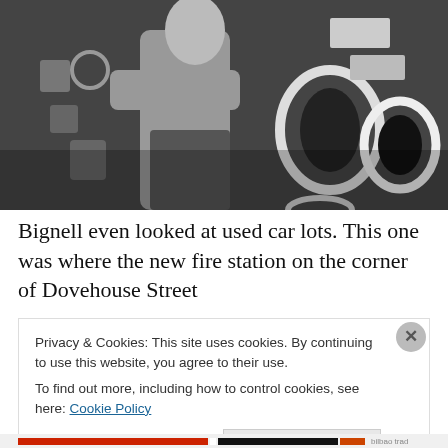[Figure (photo): Black and white photograph of a person standing with arms crossed in front of a wall displaying various decorative mirrors and illustrated signs at what appears to be a market or used goods display.]
Bignell even looked at used car lots. This one was where the new fire station on the corner of Dovehouse Street
Privacy & Cookies: This site uses cookies. By continuing to use this website, you agree to their use.
To find out more, including how to control cookies, see here: Cookie Policy
Close and accept